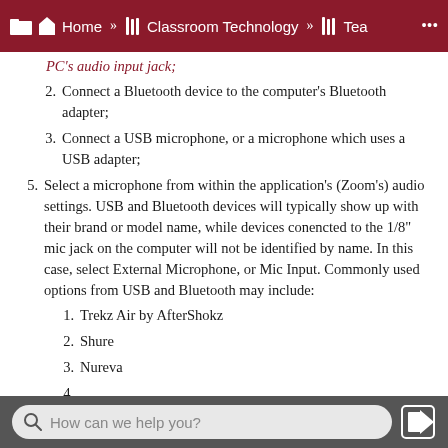Home » Classroom Technology » Tea ...
PC's audio input jack;
2. Connect a Bluetooth device to the computer's Bluetooth adapter;
3. Connect a USB microphone, or a microphone which uses a USB adapter;
5. Select a microphone from within the application's (Zoom's) audio settings. USB and Bluetooth devices will typically show up with their brand or model name, while devices conencted to the 1/8" mic jack on the computer will not be identified by name. In this case, select External Microphone, or Mic Input. Commonly used options from USB and Bluetooth may include:
1. Trekz Air by AfterShokz
2. Shure
3. Nureva
How can we help you?